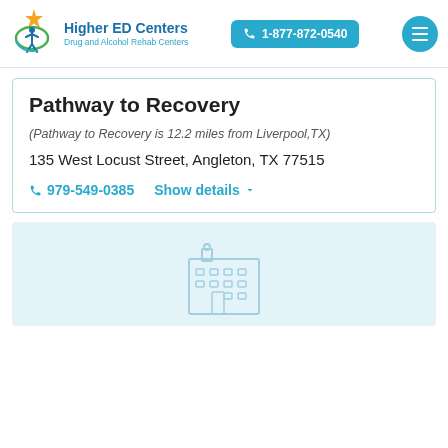Higher ED Centers — Drug and Alcohol Rehab Centers | 1-877-872-0540
Pathway to Recovery
(Pathway to Recovery is 12.2 miles from Liverpool,TX)
135 West Locust Street, Angleton, TX 77515
979-549-0385  Show details
[Figure (illustration): Light blue card with a faint outline illustration of a building/hospital icon]